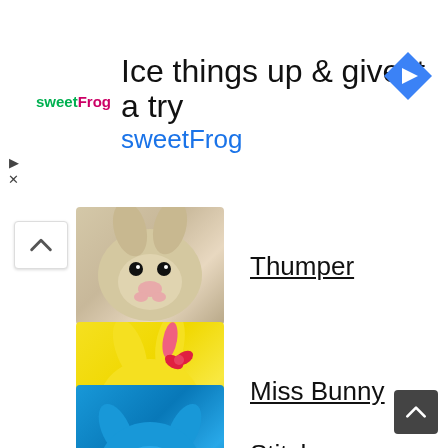[Figure (screenshot): sweetFrog advertisement banner: 'Ice things up & give it a try sweetFrog' with logo and navigation arrow icon]
Thumper
Miss Bunny
Dumbo
Lady
Stitch
Scrump